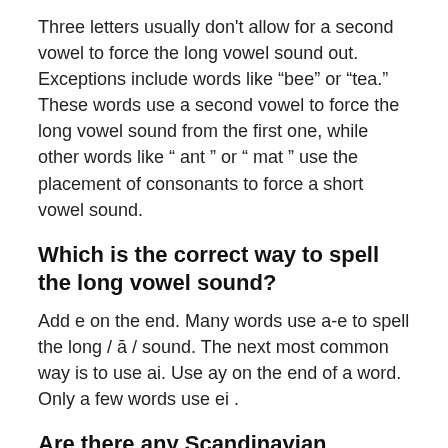Three letters usually don't allow for a second vowel to force the long vowel sound out. Exceptions include words like “bee” or “tea.” These words use a second vowel to force the long vowel sound from the first one, while other words like “ ant ” or “ mat ” use the placement of consonants to force a short vowel sound.
Which is the correct way to spell the long vowel sound?
Add e on the end. Many words use a-e to spell the long / ā / sound. The next most common way is to use ai. Use ay on the end of a word. Only a few words use ei .
Are there any Scandinavian languages that have the same vowel sound?
Scandinavian languages utilize similar words. You may use more or fewer words as you think it’s best